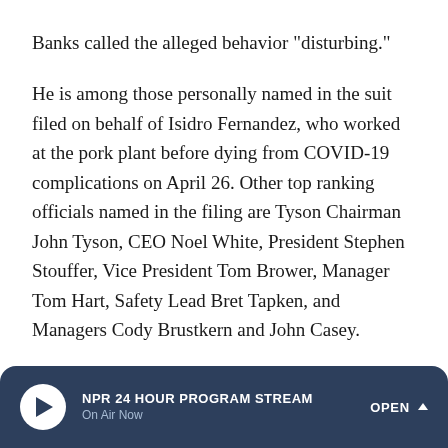Banks called the alleged behavior "disturbing."
He is among those personally named in the suit filed on behalf of Isidro Fernandez, who worked at the pork plant before dying from COVID-19 complications on April 26. Other top ranking officials named in the filing are Tyson Chairman John Tyson, CEO Noel White, President Stephen Stouffer, Vice President Tom Brower, Manager Tom Hart, Safety Lead Bret Tapken, and Managers Cody Brustkern and John Casey.
Tyson, which reportedly had $42.4 billion in sales in 2019, has been family-owned for three generations, making the
NPR 24 HOUR PROGRAM STREAM
On Air Now
OPEN